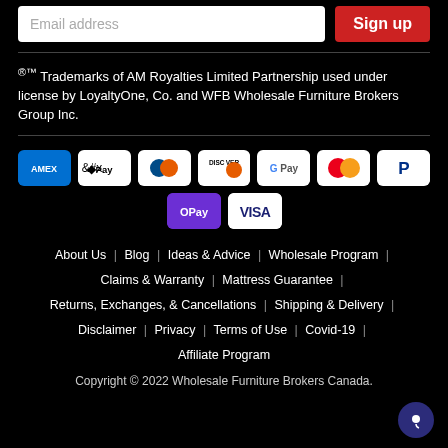Email address
Sign up
®™ Trademarks of AM Royalties Limited Partnership used under license by LoyaltyOne, Co. and WFB Wholesale Furniture Brokers Group Inc.
[Figure (logo): Payment method logos: AMEX, Apple Pay, Diners Club, Discover, Google Pay, Mastercard, PayPal, OPay, Visa]
About Us | Blog | Ideas & Advice | Wholesale Program | Claims & Warranty | Mattress Guarantee | Returns, Exchanges, & Cancellations | Shipping & Delivery | Disclaimer | Privacy | Terms of Use | Covid-19 | Affiliate Program
Copyright © 2022 Wholesale Furniture Brokers Canada.